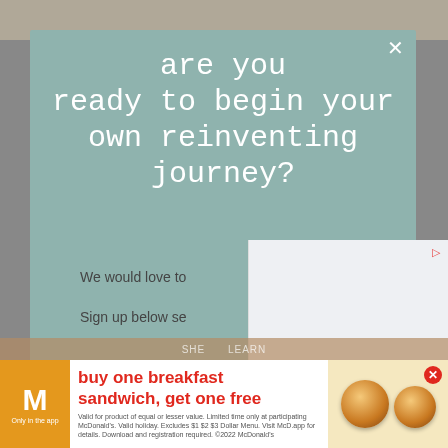are you ready to begin your own reinventing journey?
We would love to
Sign up below so
Email address
[Figure (screenshot): McDonald's app advertisement banner: buy one breakfast sandwich, get one free. Only in the app. Fine print about valid holiday, excludes $1 $2 $3 Dollar Menu.]